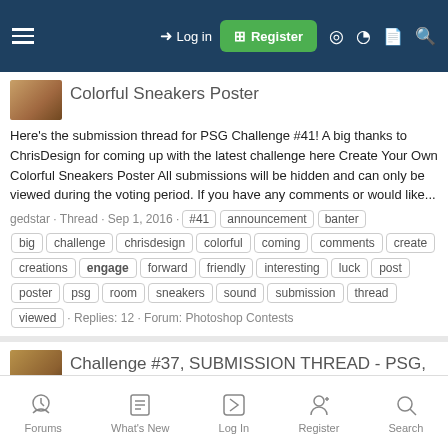Log in | Register
Colorful Sneakers Poster
Here's the submission thread for PSG Challenge #41! A big thanks to ChrisDesign for coming up with the latest challenge here Create Your Own Colorful Sneakers Poster All submissions will be hidden and can only be viewed during the voting period. If you have any comments or would like...
gedstar · Thread · Sep 1, 2016 · #41 announcement banter big challenge chrisdesign colorful coming comments create creations engage forward friendly interesting luck post poster psg room sneakers sound submission thread viewed · Replies: 12 · Forum: Photoshop Contests
Challenge #37, SUBMISSION THREAD - PSG, When Time
Forums | What's New | Log In | Register | Search